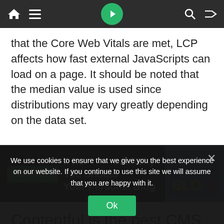Navigation bar with home, menu, logo, search, and shuffle icons
that the Core Web Vitals are met, LCP affects how fast external JavaScripts can load on a page. It should be noted that the median value is used since distributions may vary greatly depending on the data set.
[Figure (screenshot): READ ALSO banner: green button reading 'READ ALSO', text '7 Reasons Why You Should Your Personal Blog', and a photo of a jeans pocket with the word BLOG on it.]
Contentful is the best CMS
We use cookies to ensure that we give you the best experience on our website. If you continue to use this site we will assume that you are happy with it.